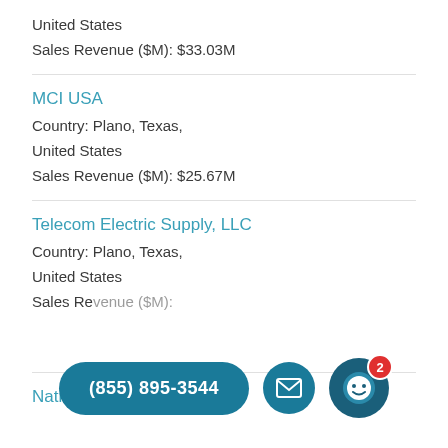United States
Sales Revenue ($M): $33.03M
MCI USA
Country: Plano, Texas, United States
Sales Revenue ($M): $25.67M
Telecom Electric Supply, LLC
Country: Plano, Texas, United States
Sales Revenue ($M):
Nationwide Debt Direct LLC